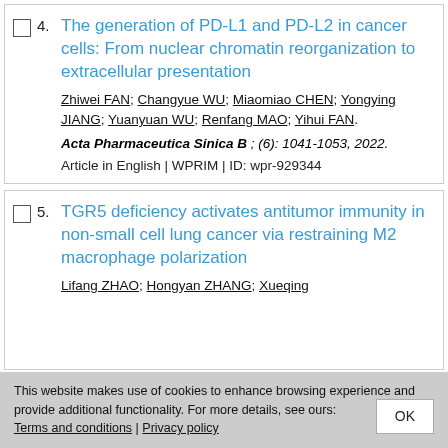4. The generation of PD-L1 and PD-L2 in cancer cells: From nuclear chromatin reorganization to extracellular presentation
Zhiwei FAN; Changyue WU; Miaomiao CHEN; Yongying JIANG; Yuanyuan WU; Renfang MAO; Yihui FAN.
Acta Pharmaceutica Sinica B ; (6): 1041-1053, 2022.
Article in English | WPRIM | ID: wpr-929344
5. TGR5 deficiency activates antitumor immunity in non-small cell lung cancer via restraining M2 macrophage polarization
Lifang ZHAO; Hongyan ZHANG; Xueqing ...
This website makes use of cookies to enhance browsing experience and provide additional functionality. For more details, see ours: Terms and conditions | Privacy policy